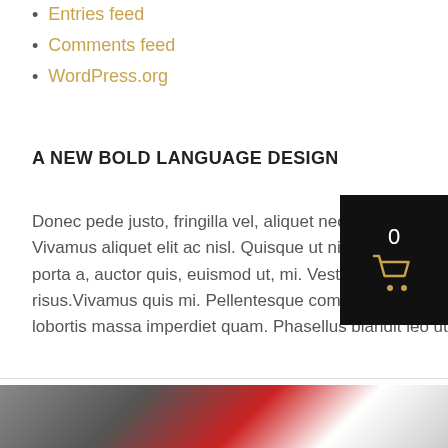Entries feed
Comments feed
WordPress.org
A NEW BOLD LANGUAGE DESIGN
Donec pede justo, fringilla vel, aliquet nec, vulputate eget, arcu. Vivamus aliquet elit ac nisl. Quisque ut nisi. Proin sapien ipsum, porta a, auctor quis, euismod ut, mi. Vestibulum quis leo risus.Vivamus quis mi. Pellentesque commodo eros a enim. Duis lobortis massa imperdiet quam. Phasellus blandit leo ut odio.
[Figure (other): Shopping cart widget showing count 0 with gold cart icon on black background]
[Figure (photo): Partial image at bottom showing red, grey and white colors - appears to be a decorative photo]